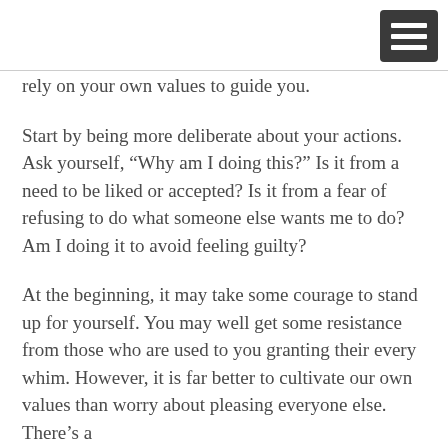[Figure (other): Dark grey square hamburger menu icon with three white horizontal bars]
rely on your own values to guide you.
Start by being more deliberate about your actions. Ask yourself, “Why am I doing this?” Is it from a need to be liked or accepted? Is it from a fear of refusing to do what someone else wants me to do? Am I doing it to avoid feeling guilty?
At the beginning, it may take some courage to stand up for yourself. You may well get some resistance from those who are used to you granting their every whim. However, it is far better to cultivate our own values than worry about pleasing everyone else. There’s a